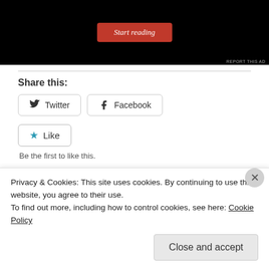[Figure (screenshot): Black ad banner with a red 'Start reading' button in italic serif font, and a 'REPORT THIS AD' label in the bottom right corner.]
Share this:
Twitter  Facebook
★ Like
Be the first to like this.
Related
Privacy & Cookies: This site uses cookies. By continuing to use this website, you agree to their use.
To find out more, including how to control cookies, see here: Cookie Policy
Close and accept